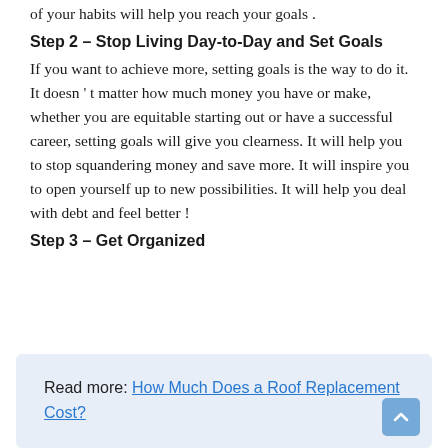of your habits will help you reach your goals .
Step 2 – Stop Living Day-to-Day and Set Goals
If you want to achieve more, setting goals is the way to do it. It doesn ' t matter how much money you have or make, whether you are equitable starting out or have a successful career, setting goals will give you clearness. It will help you to stop squandering money and save more. It will inspire you to open yourself up to new possibilities. It will help you deal with debt and feel better !
Step 3 – Get Organized
Read more: How Much Does a Roof Replacement Cost?